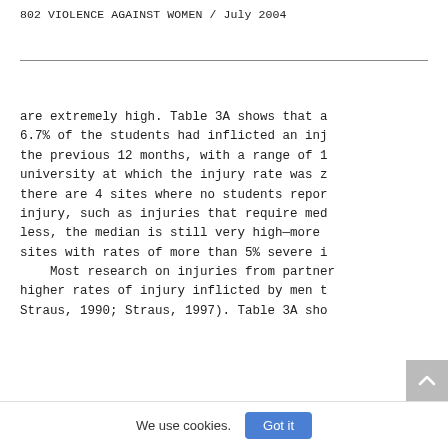802    VIOLENCE AGAINST WOMEN / July 2004
are extremely high. Table 3A shows that a 6.7% of the students had inflicted an inj the previous 12 months, with a range of 1 university at which the injury rate was z there are 4 sites where no students repor injury, such as injuries that require med less, the median is still very high—more sites with rates of more than 5% severe i
    Most research on injuries from partner higher rates of injury inflicted by men t Straus, 1990; Straus, 1997). Table 3A sho
We use cookies.